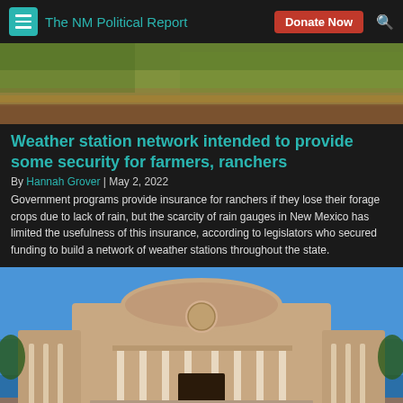The NM Political Report
[Figure (photo): Aerial or close-up photograph of dry grass / forage crops field]
Weather station network intended to provide some security for farmers, ranchers
By Hannah Grover | May 2, 2022
Government programs provide insurance for ranchers if they lose their forage crops due to lack of rain, but the scarcity of rain gauges in New Mexico has limited the usefulness of this insurance, according to legislators who secured funding to build a network of weather stations throughout the state.
[Figure (photo): Exterior photograph of the New Mexico State Capitol building (Roundhouse) with blue sky background]